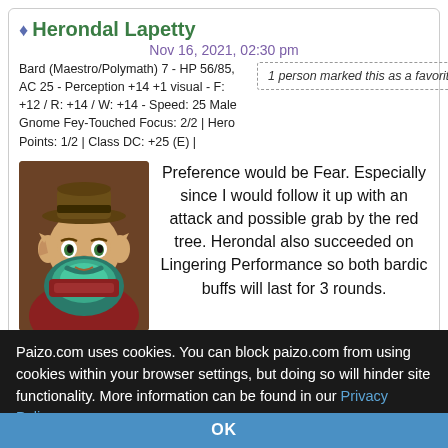Herondal Lapetty
Nov 16, 2021, 02:30 pm
Bard (Maestro/Polymath) 7 - HP 56/85, AC 25 - Perception +14 +1 visual - F: +12 / R: +14 / W: +14 - Speed: 25 Male Gnome Fey-Touched Focus: 2/2 | Hero Points: 1/2 | Class DC: +25 (E) |
1 person marked this as a favorite.
[Figure (illustration): Avatar portrait of Herondal Lapetty, a male gnome with a large blue-green beard, pointed ears, wearing a hat, illustrated fantasy art style.]
Preference would be Fear. Especially since I would follow it up with an attack and possible grab by the red tree. Herondal also succeeded on Lingering Performance so both bardic buffs will last for 3 rounds.
GM ZD BREAKING THE STORM ARC-DISCUSSION
Paizo.com uses cookies. You can block paizo.com from using cookies within your browser settings, but doing so will hinder site functionality. More information can be found in our Privacy Policy.
OK